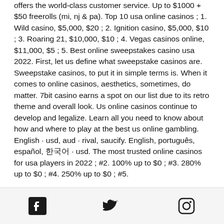offers the world-class customer service. Up to $1000 + $50 freerolls (mi, nj &amp; pa). Top 10 usa online casinos ; 1. Wild casino, $5,000, $20 ; 2. Ignition casino, $5,000, $10 ; 3. Roaring 21, $10,000, $10 ; 4. Vegas casinos online, $11,000, $5 ; 5. Best online sweepstakes casino usa 2022. First, let us define what sweepstake casinos are. Sweepstake casinos, to put it in simple terms is. When it comes to online casinos, aesthetics, sometimes, do matter. 7bit casino earns a spot on our list due to its retro theme and overall look. Us online casinos continue to develop and legalize. Learn all you need to know about how and where to play at the best us online gambling. English · usd, aud · rival, saucify. English, português, español, 한국어 · usd. The most trusted online casinos for usa players in 2022 ; #2. 100% up to $0 ; #3. 280% up to $0 ; #4. 250% up to $0 ; #5.
Social media icons: Facebook, Twitter, Instagram